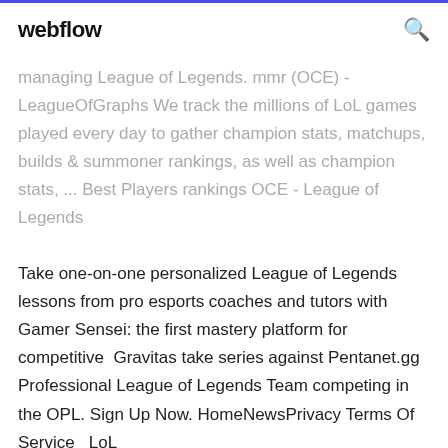webflow
managing League of Legends. mmr (OCE) - LeagueOfGraphs We track the millions of LoL games played every day to gather champion stats, matchups, builds & summoner rankings, as well as champion stats, ... Best Players rankings OCE - League of Legends
Take one-on-one personalized League of Legends lessons from pro esports coaches and tutors with Gamer Sensei: the first mastery platform for competitive  Gravitas take series against Pentanet.gg Professional League of Legends Team competing in the OPL. Sign Up Now. HomeNewsPrivacy Terms Of Service   LoL